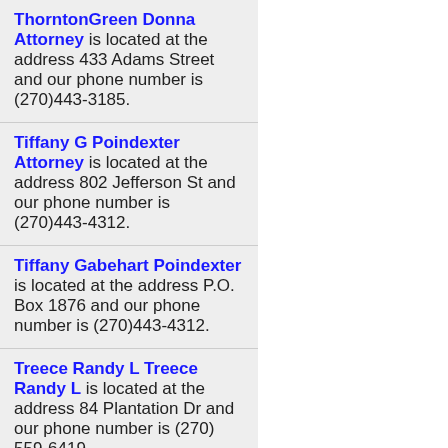ThorntonGreen Donna Attorney is located at the address 433 Adams Street and our phone number is (270)443-3185.
Tiffany G Poindexter Attorney is located at the address 802 Jefferson St and our phone number is (270)443-4312.
Tiffany Gabehart Poindexter is located at the address P.O. Box 1876 and our phone number is (270)443-4312.
Treece Randy L Treece Randy L is located at the address 84 Plantation Dr and our phone number is (270) 559-6419.
Ullerich David K Attorney is located at the address 3130...